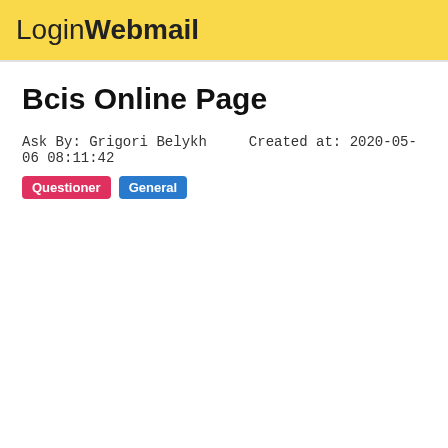LoginWebmail
Bcis Online Page
Ask By: Grigori Belykh    Created at: 2020-05-06 08:11:42
Questioner  General